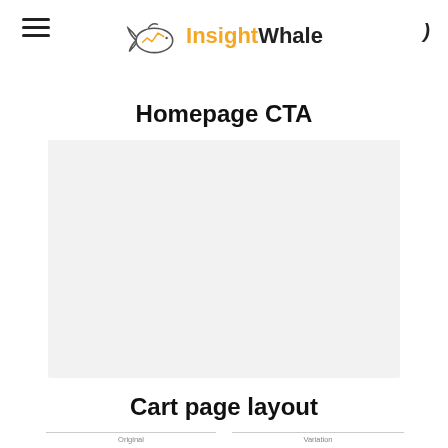InsightWhale navigation header with hamburger menu and logo
Homepage CTA
[Figure (other): Large light grey placeholder image box representing homepage CTA screenshot]
Cart page layout
Original   Variation